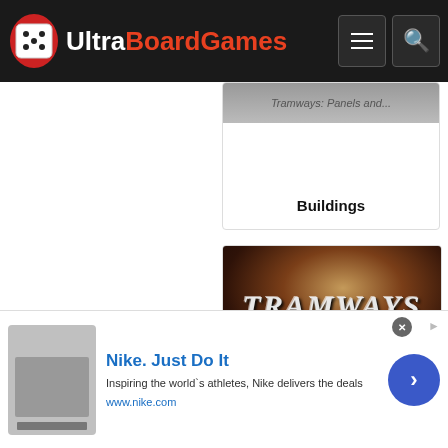UltraBoardGames
[Figure (screenshot): Partial card showing truncated title ending in 'Buildings']
Buildings
[Figure (photo): Tramways board game card with stylized TRAMWAYS text on dark brown/amber background]
How to play Tramways solo | Game Rules
[Figure (screenshot): Nike advertisement banner with thumbnail, Nike Just Do It text, and arrow button]
Nike. Just Do It
Inspiring the world`s athletes, Nike delivers the deals
www.nike.com